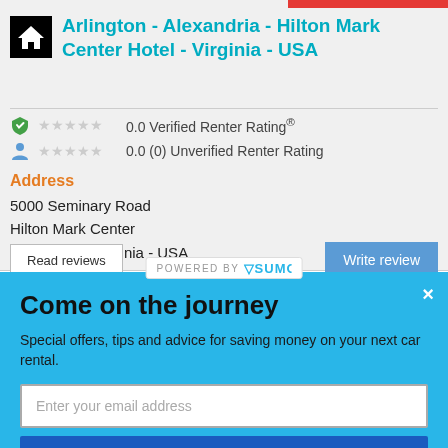Arlington - Alexandria - Hilton Mark Center Hotel - Virginia - USA
0.0 Verified Renter Rating®
0.0 (0) Unverified Renter Rating
Address
5000 Seminary Road
Hilton Mark Center
Alexandria - Virginia - USA
Read reviews
Write review
POWERED BY SUMO
Come on the journey
Special offers, tips and advice for saving money on your next car rental.
Enter your email address
Subscribe Now